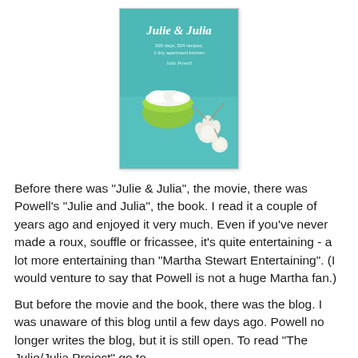[Figure (photo): Book cover of 'Julie & Julia' by Julie Powell, teal/green background with a green bowl and white flowers/garlic.]
Before there was "Julie & Julia", the movie, there was Powell's "Julie and Julia", the book. I read it a couple of years ago and enjoyed it very much. Even if you've never made a roux, souffle or fricassee, it's quite entertaining - a lot more entertaining than "Martha Stewart Entertaining". (I would venture to say that Powell is not a huge Martha fan.)
But before the movie and the book, there was the blog. I was unaware of this blog until a few days ago. Powell no longer writes the blog, but it is still open. To read "The Julie/Julia Project" go to http://blogs.salon.com/0001399/2002/08/25.html. This will take you to the very first entry so you can read it forward instead of backward.